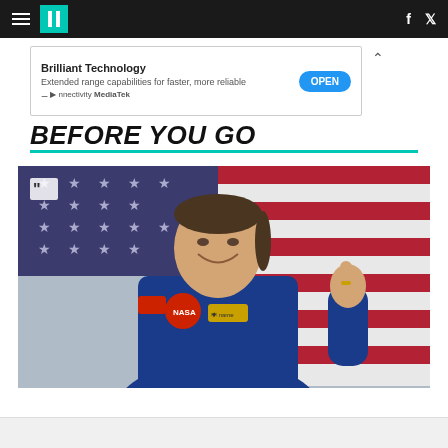HuffPost navigation bar with hamburger menu, logo, Facebook and Twitter icons
[Figure (screenshot): Advertisement banner: Brilliant Technology – Extended range capabilities for faster, more reliable connectivity MediaTek – with OPEN button]
BEFORE YOU GO
[Figure (photo): NASA astronaut in blue flight suit giving thumbs up, smiling, standing in front of American flag backdrop]